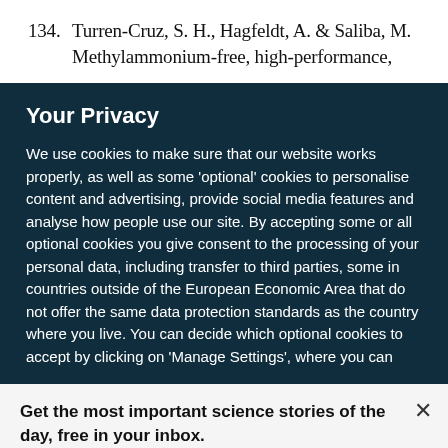134. Turren-Cruz, S. H., Hagfeldt, A. & Saliba, M. Methylammonium-free, high-performance,
Your Privacy
We use cookies to make sure that our website works properly, as well as some 'optional' cookies to personalise content and advertising, provide social media features and analyse how people use our site. By accepting some or all optional cookies you give consent to the processing of your personal data, including transfer to third parties, some in countries outside of the European Economic Area that do not offer the same data protection standards as the country where you live. You can decide which optional cookies to accept by clicking on 'Manage Settings', where you can
Get the most important science stories of the day, free in your inbox.
Sign up for Nature Briefing